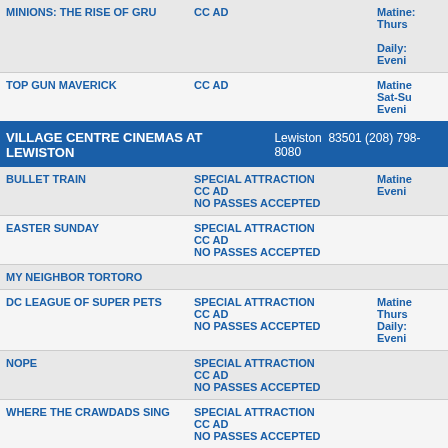| Movie | Attributes | Times |
| --- | --- | --- |
| MINIONS: THE RISE OF GRU | CC AD | Matine:
Thurs:

Daily:
Eveni |
| TOP GUN MAVERICK | CC AD | Matine
Sat-Su
Eveni |
VILLAGE CENTRE CINEMAS AT LEWISTON   Lewiston  83501 (208) 798-8080
| Movie | Attributes | Times |
| --- | --- | --- |
| BULLET TRAIN | SPECIAL ATTRACTION
CC AD
NO PASSES ACCEPTED | Matine
Eveni |
| EASTER SUNDAY | SPECIAL ATTRACTION
CC AD
NO PASSES ACCEPTED |  |
| MY NEIGHBOR TORTORO |  |  |
| DC LEAGUE OF SUPER PETS | SPECIAL ATTRACTION
CC AD
NO PASSES ACCEPTED | Matine
Thurs
Daily:
Eveni |
| NOPE | SPECIAL ATTRACTION
CC AD
NO PASSES ACCEPTED |  |
| WHERE THE CRAWDADS SING | SPECIAL ATTRACTION
CC AD
NO PASSES ACCEPTED |  |
| THOR: LOVE & THUNDER | PG13 CC AD
SPECIAL ATTRACTION
NO PASSES | Matine
Ticket
Thurs |